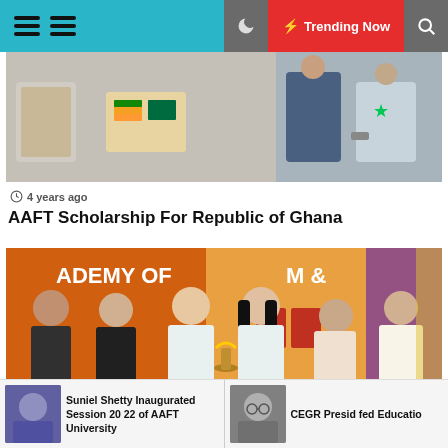Trending Now
[Figure (photo): People exchanging documents or materials at an event, showing Indian and Ghana flags visible]
4 years ago
AAFT Scholarship For Republic of Ghana
[Figure (photo): Group of people lighting a traditional lamp on stage at Academy of Film & Television event]
5 years ago
Suniel Shetty Inaugurated Session 2022 of AAFT University
CEGR Presid fed Educatio